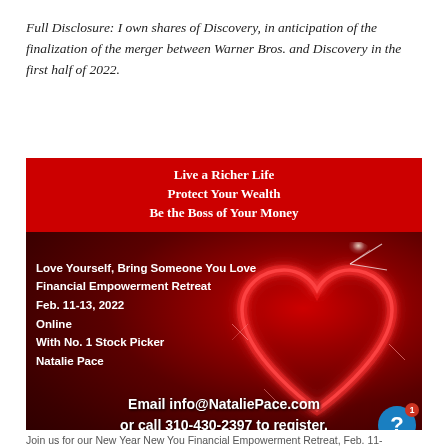Full Disclosure: I own shares of Discovery, in anticipation of the finalization of the merger between Warner Bros. and Discovery in the first half of 2022.
[Figure (other): Advertisement for a Financial Empowerment Retreat. Red banner at top reads: Live a Richer Life / Protect Your Wealth / Be the Boss of Your Money. Dark red background with glowing red heart graphic and sparkles. Left side text: Love Yourself, Bring Someone You Love / Financial Empowerment Retreat / Feb. 11-13, 2022 / Online / With No. 1 Stock Picker / Natalie Pace. Bottom text: Email info@NataliePace.com or call 310-430-2397 to register. Blue help circle with '?' icon and red notification badge showing '1' in bottom right corner.]
Join us for our New Year New You Financial Empowerment Retreat, Feb. 11-